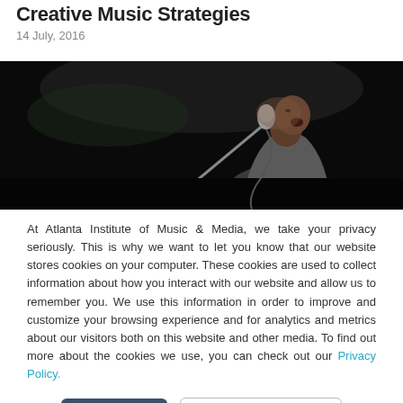Creative Music Strategies
14 July, 2016
[Figure (photo): A male singer performing on stage with a microphone in a dark concert setting, wearing a gray jacket.]
At Atlanta Institute of Music & Media, we take your privacy seriously. This is why we want to let you know that our website stores cookies on your computer. These cookies are used to collect information about how you interact with our website and allow us to remember you. We use this information in order to improve and customize your browsing experience and for analytics and metrics about our visitors both on this website and other media. To find out more about the cookies we use, you can check out our Privacy Policy.